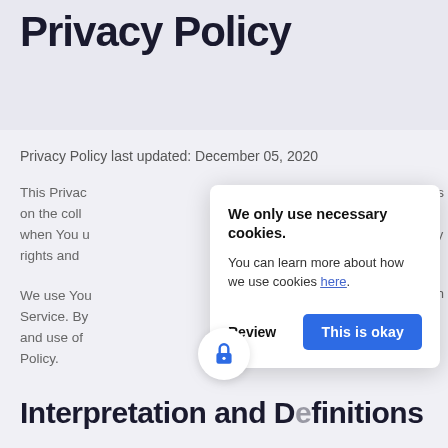Privacy Policy
Privacy Policy last updated: December 05, 2020
This Privacy... es on the coll... n when You u... cy rights and...
We only use necessary cookies. You can learn more about how we use cookies here.
Review | This is okay
We use Yo... Service. By... and use of... Policy.
Interpretation and Definitions